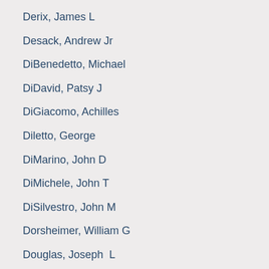Derix, James L
Desack, Andrew Jr
DiBenedetto, Michael
DiDavid, Patsy J
DiGiacomo, Achilles
Diletto, George
DiMarino, John D
DiMichele, John T
DiSilvestro, John M
Dorsheimer, William G
Douglas, Joseph  L
Dowhunick, Tony